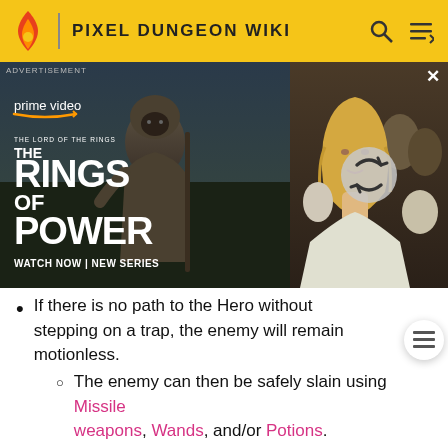PIXEL DUNGEON WIKI
[Figure (photo): Amazon Prime Video advertisement for 'The Lord of the Rings: The Rings of Power'. Features a hooded stone-like figure on the left side with text 'THE LORD OF THE RINGS THE RINGS OF POWER WATCH NOW | NEW SERIES' and 'prime video' logo. Right side shows a partial image of a blonde woman with other figures, with a reload icon overlay. Close (X) button in top right corner. 'ADVERTISEMENT' label at top left.]
If there is no path to the Hero without stepping on a trap, the enemy will remain motionless.
The enemy can then be safely slain using Missile weapons, Wands, and/or Potions.
Enemies will not avoid traps if they have been zapped with a Wand of Amok.
Enemies can be pushed onto traps with an inscribed armor of Bounce.
Enemies can be forced onto a trap if your Hero is